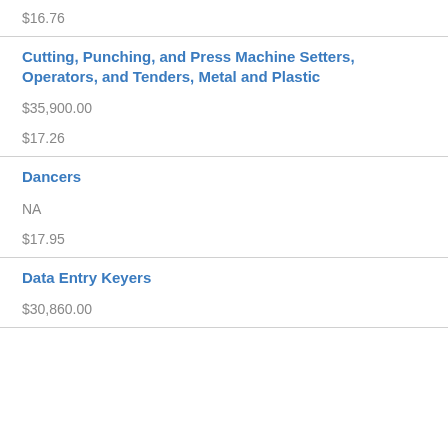$16.76
Cutting, Punching, and Press Machine Setters, Operators, and Tenders, Metal and Plastic
$35,900.00
$17.26
Dancers
NA
$17.95
Data Entry Keyers
$30,860.00